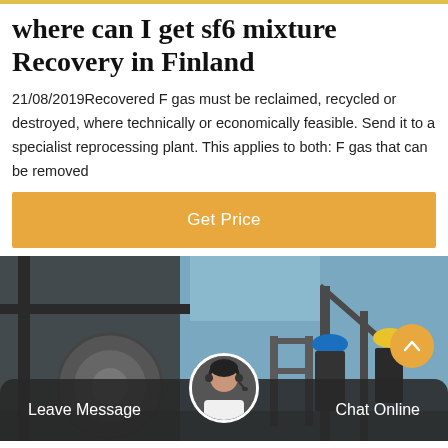where can I get sf6 mixture Recovery in Finland
21/08/2019Recovered F gas must be reclaimed, recycled or destroyed, where technically or economically feasible. Send it to a specialist reprocessing plant. This applies to both: F gas that can be removed
[Figure (other): Orange 'Get Price' button]
[Figure (photo): Industrial facility workers in hard hats near machinery, blurred background]
Leave Message   Chat Online